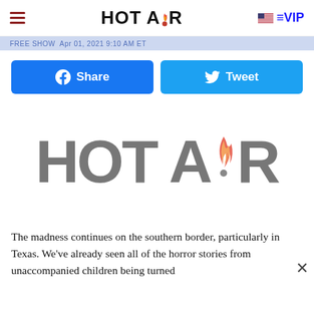HOT AiR  VIP
Apr 01, 2021 9:10 AM ET
[Figure (infographic): Facebook Share button (blue) and Twitter Tweet button (light blue), side by side]
[Figure (logo): Large Hot Air logo in gray with flame emoji replacing the dot in the 'i']
The madness continues on the southern border, particularly in Texas. We've already seen all of the horror stories from unaccompanied children being turned...